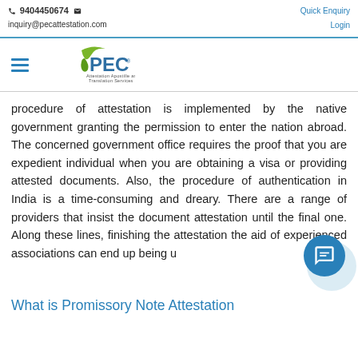📞 9404450674 ✉  inquiry@pecattestation.com | Quick Enquiry  Login
[Figure (logo): PEC Attestation Apostille and Translation Services logo with green swoosh and blue PEC text]
procedure of attestation is implemented by the native government granting the permission to enter the nation abroad. The concerned government office requires the proof that you are expedient individual when you are obtaining a visa or providing attested documents. Also, the procedure of authentication in India is a time-consuming and dreary. There are a range of providers that insist the document attestation until the final one. Along these lines, finishing the attestation the aid of experienced associations can end up being u...
What is Promissory Note Attestation